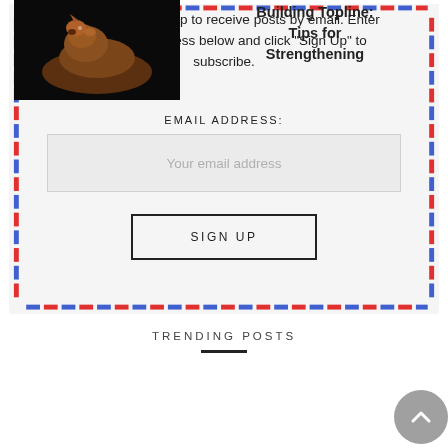OTTB by signing up to receive posts by email. Enter your email address below and click "Sign Up" to subscribe.
EMAIL ADDRESS:
Your email address
SIGN UP
TRENDING POSTS
[Figure (photo): Close-up photo of a horse's head against a dark background]
Building Topline: Tips for Strengthening